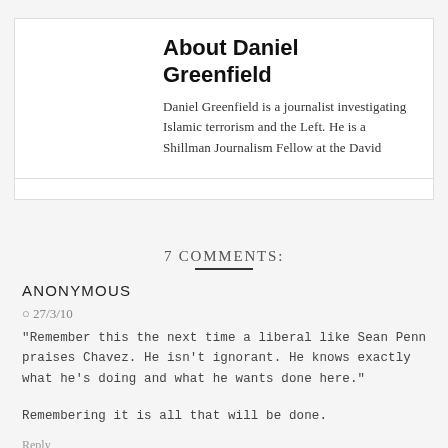[Figure (photo): Circular profile photo of Daniel Greenfield, a sepia-toned portrait of a man]
About Daniel Greenfield
Daniel Greenfield is a journalist investigating Islamic terrorism and the Left. He is a Shillman Journalism Fellow at the David Horowitz Freedom Center
7 COMMENTS:
ANONYMOUS
27/3/10
"Remember this the next time a liberal like Sean Penn praises Chavez. He isn't ignorant. He knows exactly what he's doing and what he wants done here."
Remembering it is all that will be done.
Reply